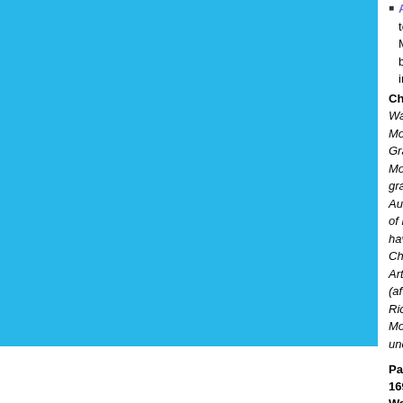[Figure (illustration): Large cyan/light blue rectangle panel on the left side of the page]
Ann Hamilton (? - ...) to inherit the family ... Michael Ward, Esq. ... become a Justice c... in Ireland. She died...
Christopher Richards... Ward family were w... Mordaunt ancestors... Grandmother was d... Mordaunt (Ward) a... grandmother. She m... Augustus Richards... of her descendants... have Mordaunt as a... Christian name. My... Arthur (after one of... (after another one)... Richards. He was a... Mordaunt to avoid c... uncles."
Painting attributed to Ma... 1699) National Trust coll... Ward, Co. Down.
Lewis Mordaunt (1665 - ...) of John Mordaunt, Viscou... at Eton(?), he was anothe... to
Brigadier-G...